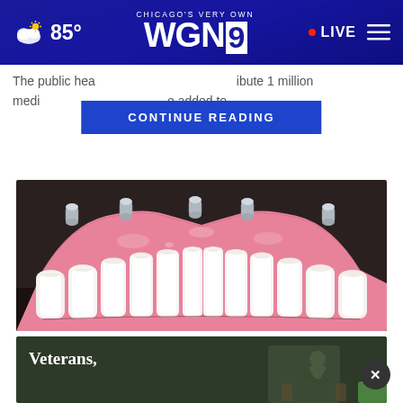CHICAGO'S VERY OWN WGN9 | 85° | LIVE
The public hea... ibute 1 million medi... e added to
CONTINUE READING
[Figure (photo): Dental implant prosthesis showing upper arch with multiple implant abutments, pink gum-colored acrylic and white ceramic teeth]
Ashburn: Actual Whole Mouth Dental Implant Cost In 2022 (See List)
Ad by Find out more
[Figure (photo): Veterans ad showing a person in military or civilian clothing sitting with head bowed, with 'Veterans,' text overlay]